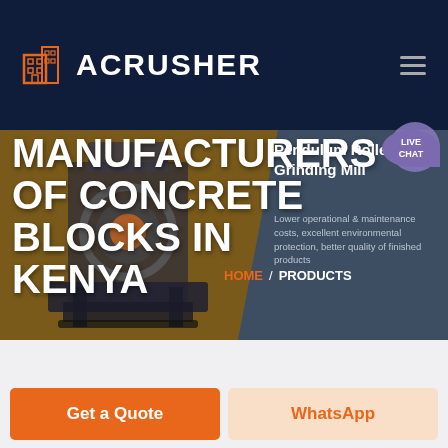[Figure (screenshot): ACRUSHER website header with dark navy background, orange building logo icon, white bold 'ACRUSHER' text, and hamburger menu icon on the right]
MANUFACTURERS OF CONCRETE BLOCKS IN KENYA
[Figure (screenshot): Right panel showing 'Pendulum Roller Grinding Mill' title and description: 'Lower operational & maintenance costs, excellent environmental protection, better quality of finished products']
HOME / PRODUCTS
[Figure (illustration): LIVE CHAT speech bubble badge in purple with chat person avatar icon]
Get a Quote
WhatsApp